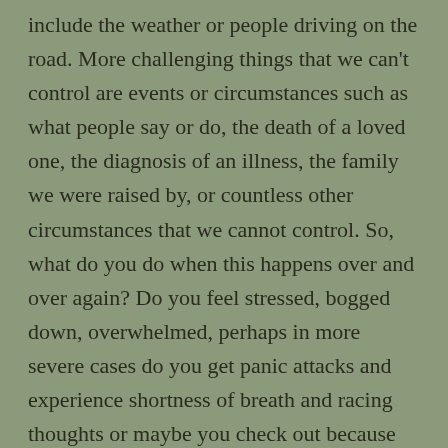include the weather or people driving on the road. More challenging things that we can't control are events or circumstances such as what people say or do, the death of a loved one, the diagnosis of an illness, the family we were raised by, or countless other circumstances that we cannot control. So, what do you do when this happens over and over again? Do you feel stressed, bogged down, overwhelmed, perhaps in more severe cases do you get panic attacks and experience shortness of breath and racing thoughts or maybe you check out because you feel so overwhelmed? Sometimes it can be easier to tune out of the present and almost feel numb because reality is too painful. The truth is the present is the best gift you can give yourself. Why, might you ask? Well, the present moment does not have to contain that fear, doubt or worry that ails your mind. The present moment is a voluntary submission to let go of that which you cannot